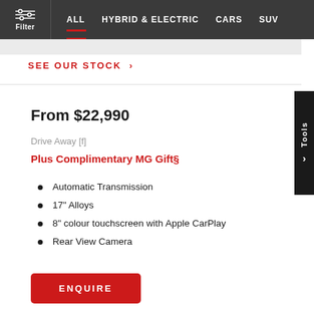Filter | ALL | HYBRID & ELECTRIC | CARS | SUV
SEE OUR STOCK >
From $22,990
Drive Away [f]
Plus Complimentary MG Gift§
Automatic Transmission
17" Alloys
8" colour touchscreen with Apple CarPlay
Rear View Camera
ENQUIRE